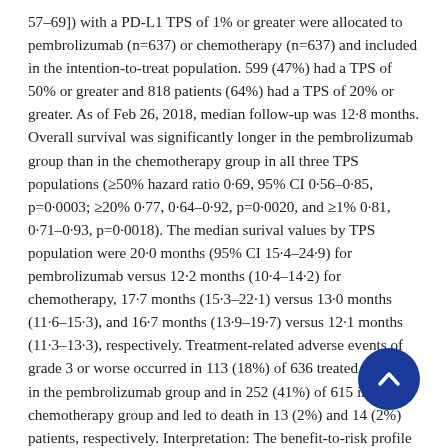57–69]) with a PD-L1 TPS of 1% or greater were allocated to pembrolizumab (n=637) or chemotherapy (n=637) and included in the intention-to-treat population. 599 (47%) had a TPS of 50% or greater and 818 patients (64%) had a TPS of 20% or greater. As of Feb 26, 2018, median follow-up was 12·8 months. Overall survival was significantly longer in the pembrolizumab group than in the chemotherapy group in all three TPS populations (≥50% hazard ratio 0·69, 95% CI 0·56–0·85, p=0·0003; ≥20% 0·77, 0·64–0·92, p=0·0020, and ≥1% 0·81, 0·71–0·93, p=0·0018). The median surival values by TPS population were 20·0 months (95% CI 15·4–24·9) for pembrolizumab versus 12·2 months (10·4–14·2) for chemotherapy, 17·7 months (15·3–22·1) versus 13·0 months (11·6–15·3), and 16·7 months (13·9–19·7) versus 12·1 months (11·3–13·3), respectively. Treatment-related adverse events of grade 3 or worse occurred in 113 (18%) of 636 treated patients in the pembrolizumab group and in 252 (41%) of 615 in the chemotherapy group and led to death in 13 (2%) and 14 (2%) patients, respectively. Interpretation: The benefit-to-risk profile suggests that pembrolizumab monotherapy can be extended as first-line therapy to patients with locally advanced or metastatic non-small-cell lung cancer without sensitising EGFR or ALK alterations and with a PD-L1 TPS. Funding: Merck Sharp &
[Figure (other): Blue circular scroll-to-top button with upward chevron arrow, positioned at bottom right of page]